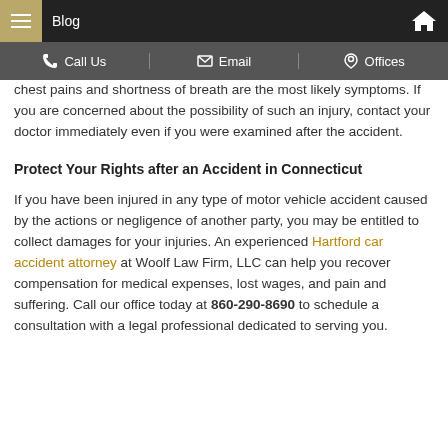Blog
Call Us | Email | Offices
chest pains and shortness of breath are the most likely symptoms. If you are concerned about the possibility of such an injury, contact your doctor immediately even if you were examined after the accident.
Protect Your Rights after an Accident in Connecticut
If you have been injured in any type of motor vehicle accident caused by the actions or negligence of another party, you may be entitled to collect damages for your injuries. An experienced Hartford car accident attorney at Woolf Law Firm, LLC can help you recover compensation for medical expenses, lost wages, and pain and suffering. Call our office today at 860-290-8690 to schedule a consultation with a legal professional dedicated to serving you.